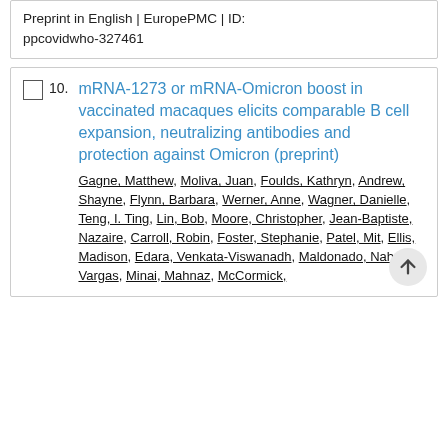Preprint in English | EuropePMC | ID: ppcovidwho-327461
10. mRNA-1273 or mRNA-Omicron boost in vaccinated macaques elicits comparable B cell expansion, neutralizing antibodies and protection against Omicron (preprint)
Gagne, Matthew, Moliva, Juan, Foulds, Kathryn, Andrew, Shayne, Flynn, Barbara, Werner, Anne, Wagner, Danielle, Teng, I. Ting, Lin, Bob, Moore, Christopher, Jean-Baptiste, Nazaire, Carroll, Robin, Foster, Stephanie, Patel, Mit, Ellis, Madison, Edara, Venkata-Viswanadh, Maldonado, Nahara Vargas, Minai, Mahnaz, McCormick,